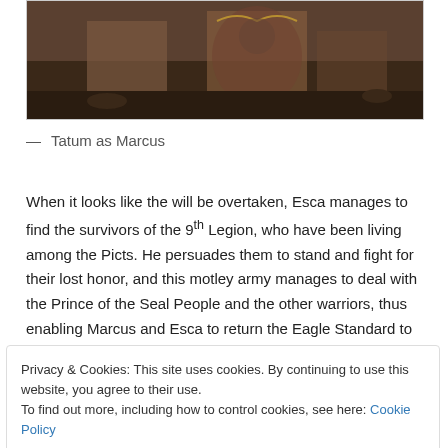[Figure (photo): A scene from a film showing figures in Roman-era costumes on a battlefield]
— Tatum as Marcus
When it looks like the will be overtaken, Esca manages to find the survivors of the 9th Legion, who have been living among the Picts. He persuades them to stand and fight for their lost honor, and this motley army manages to deal with the Prince of the Seal People and the other warriors, thus enabling Marcus and Esca to return the Eagle Standard to the Roman authorities.
Privacy & Cookies: This site uses cookies. By continuing to use this website, you agree to their use.
To find out more, including how to control cookies, see here: Cookie Policy
The film has a simple plot, and despite the somewhat